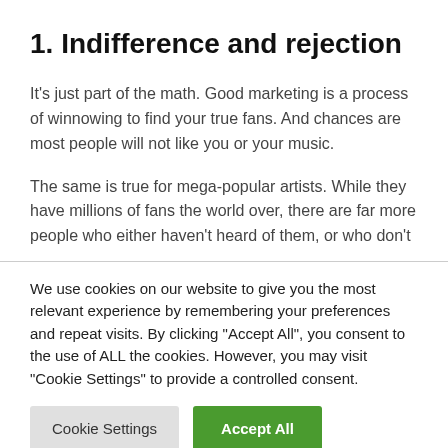1. Indifference and rejection
It’s just part of the math. Good marketing is a process of winnowing to find your true fans. And chances are most people will not like you or your music.
The same is true for mega-popular artists. While they have millions of fans the world over, there are far more people who either haven’t heard of them, or who don’t
We use cookies on our website to give you the most relevant experience by remembering your preferences and repeat visits. By clicking “Accept All”, you consent to the use of ALL the cookies. However, you may visit "Cookie Settings" to provide a controlled consent.